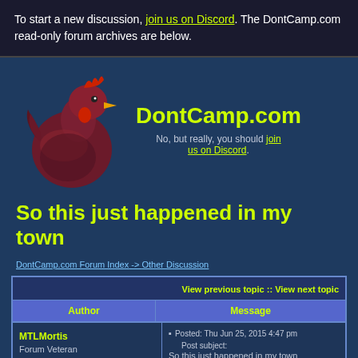To start a new discussion, join us on Discord. The DontCamp.com read-only forum archives are below.
[Figure (illustration): Red rooster / chicken logo illustration facing right]
DontCamp.com
No, but really, you should join us on Discord.
So this just happened in my town
DontCamp.com Forum Index -> Other Discussion
| Author | Message |
| --- | --- |
| MTLMortis
Forum Veteran

Joined: 25 May 2014
Posts: 515 | Posted: Thu Jun 25, 2015 4:47 pm   Post subject: So this just happened in my town

http://www.ctvnews.ca/canada/jet-tire-... |